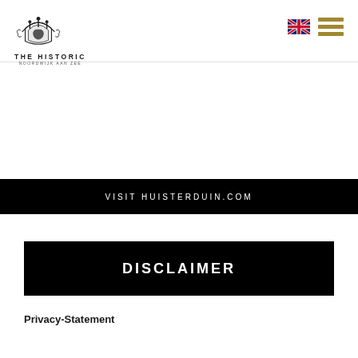THE HISTORIC NOORDWIJK AAN ZEE
VISIT HUISTERDUIN.COM
DISCLAIMER
Privacy-Statement